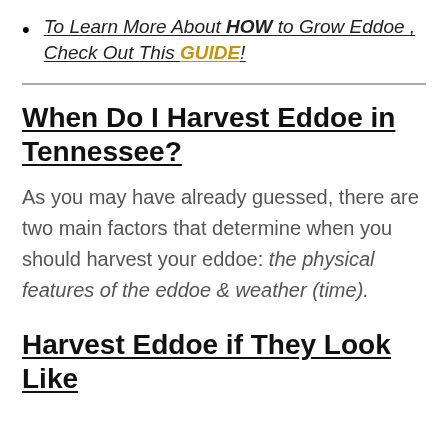To Learn More About HOW to Grow Eddoe , Check Out This GUIDE!
When Do I Harvest Eddoe in Tennessee?
As you may have already guessed, there are two main factors that determine when you should harvest your eddoe: the physical features of the eddoe & weather (time).
Harvest Eddoe if They Look Like